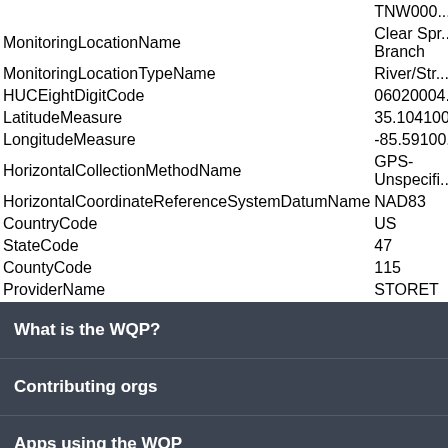| Field | Value |
| --- | --- |
|  | TNW000... |
| MonitoringLocationName | Clear Spr... Branch |
| MonitoringLocationTypeName | River/Str... |
| HUCEightDigitCode | 06020004... |
| LatitudeMeasure | 35.104100... |
| LongitudeMeasure | -85.59100... |
| HorizontalCollectionMethodName | GPS-Unspecifi... |
| HorizontalCoordinateReferenceSystemDatumName | NAD83 |
| CountryCode | US |
| StateCode | 47 |
| CountyCode | 115 |
| ProviderName | STORET |
What is the WQP?
Contributing orgs
Apps using the WQP